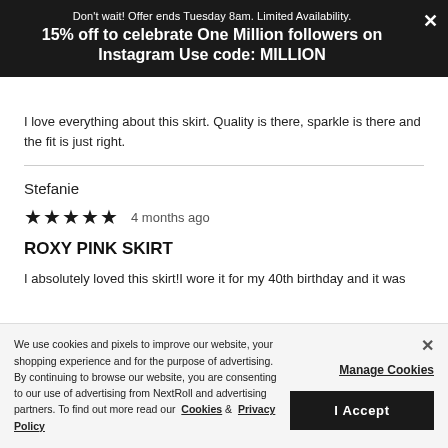Don't wait! Offer ends Tuesday 8am. Limited Availability.
15% off to celebrate One Million followers on Instagram Use code: MILLION
I love everything about this skirt. Quality is there, sparkle is there and the fit is just right.
Stefanie
★★★★★ 4 months ago
ROXY PINK SKIRT
I absolutely loved this skirt!I wore it for my 40th birthday and it was
We use cookies and pixels to improve our website, your shopping experience and for the purpose of advertising. By continuing to browse our website, you are consenting to our use of advertising from NextRoll and advertising partners. To find out more read our Cookies & Privacy Policy
Manage Cookies
I Accept